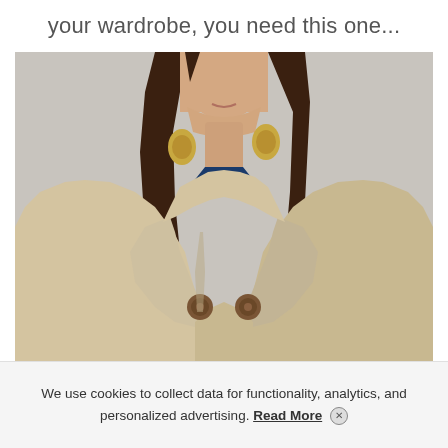your wardrobe, you need this one...
[Figure (photo): A woman wearing a beige double-breasted trench coat with large decorative earrings, photographed from chest-up against a light grey background.]
We use cookies to collect data for functionality, analytics, and personalized advertising. Read More ×